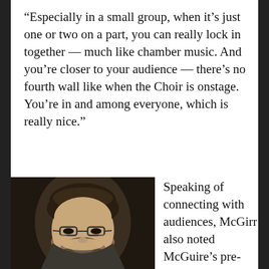“Especially in a small group, when it’s just one or two on a part, you can really lock in together — much like chamber music. And you’re closer to your audience — there’s no fourth wall like when the Choir is onstage. You’re in and among everyone, which is really nice.”
[Figure (photo): Headshot of a man with curly dark hair, glasses, beard and goatee, wearing a dark suit jacket and light blue shirt with a tie, smiling broadly, against a dark background.]
Speaking of connecting with audiences, McGirr also noted McGuire’s pre-